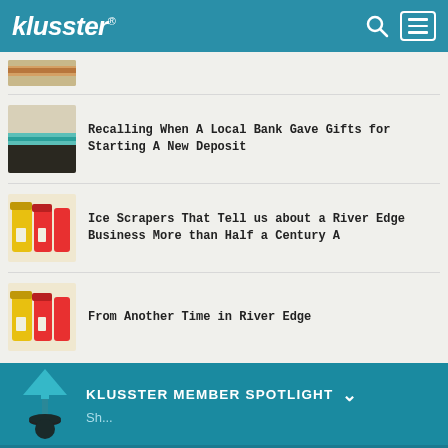klusster®
[Figure (photo): Partial thumbnail of an article image (green stripe on fabric)]
[Figure (photo): Thumbnail of old bank item with green/teal stripe]
Recalling When A Local Bank Gave Gifts for Starting A New Deposit
[Figure (photo): Thumbnail of colorful plastic ice scrapers (yellow and pink)]
Ice Scrapers That Tell us about a River Edge Business More than Half a Century A
[Figure (photo): Thumbnail of colorful plastic ice scrapers (yellow and pink), same as above]
From Another Time in River Edge
KLUSSTER MEMBER SPOTLIGHT
4.9 ☆☆☆☆☆